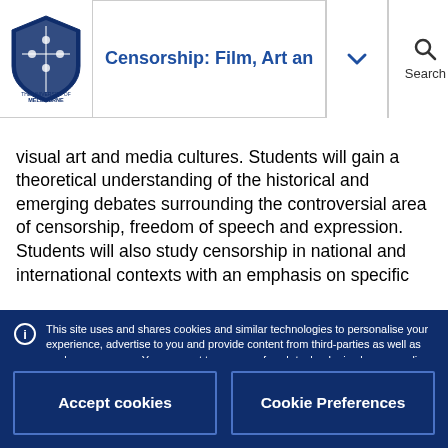Censorship: Film, Art an...
visual art and media cultures. Students will gain a theoretical understanding of the historical and emerging debates surrounding the controversial area of censorship, freedom of speech and expression. Students will also study censorship in national and international contexts with an emphasis on specific...
This site uses and shares cookies and similar technologies to personalise your experience, advertise to you and provide content from third-parties as well as analyse our usage. You consent to our use of such technologies by proceeding. You can change your mind or consent choices at any time. Visit our Privacy Statement for further information.
Accept cookies
Cookie Preferences